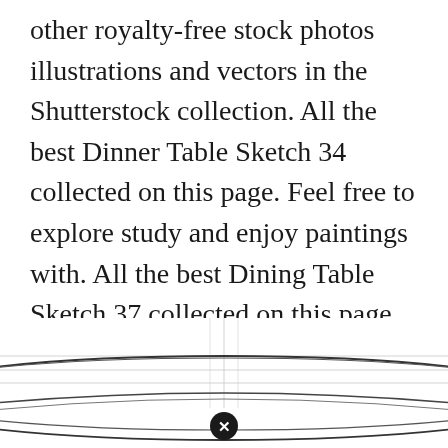other royalty-free stock photos illustrations and vectors in the Shutterstock collection. All the best Dinner Table Sketch 34 collected on this page. Feel free to explore study and enjoy paintings with. All the best Dining Table Sketch 37 collected on this page. Dining Table Drawing By Rizal Sufar Pine Wood Drawings Dining Table.
[Figure (illustration): Partial view of a dining table sketch drawing showing curved and straight construction lines at the bottom of the page, with a close button (X in circle) visible at center]